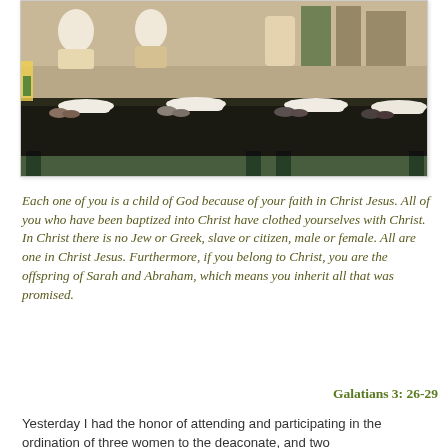[Figure (photo): People in white robes prostrating/lying face-down on a dark table surface during an ordination ceremony, with other robed figures standing in the background]
Each one of you is a child of God because of your faith in Christ Jesus. All of you who have been baptized into Christ have clothed yourselves with Christ. In Christ there is no Jew or Greek, slave or citizen, male or female. All are one in Christ Jesus. Furthermore, if you belong to Christ, you are the offspring of Sarah and Abraham, which means you inherit all that was promised.
Galatians 3: 26-29
Yesterday I had the honor of attending and participating in the ordination of three women to the deaconate, and two